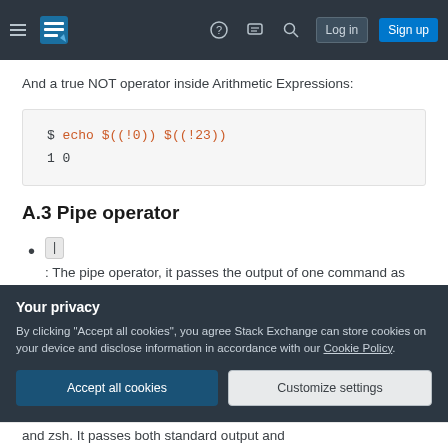Stack Exchange navigation bar with logo, help, chat, search, Log in, Sign up
And a true NOT operator inside Arithmetic Expressions:
$ echo $((! 0)) $((! 23))
1 0
A.3 Pipe operator
| : The pipe operator, it passes the output of one command as input to another. A command built from the pipe operator is called a pipeline.
Your privacy
By clicking "Accept all cookies", you agree Stack Exchange can store cookies on your device and disclose information in accordance with our Cookie Policy.
and zsh. It passes both standard output and